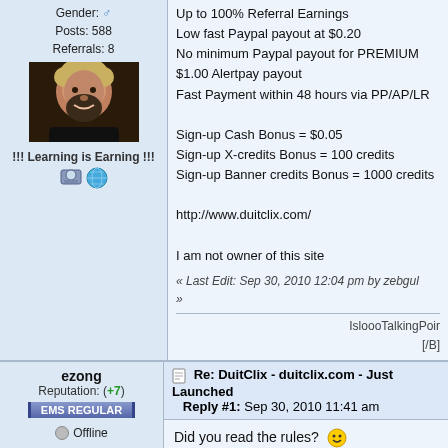Gender: ♂ Posts: 588 Referrals: 8
[Figure (photo): Profile photo of a man with dark beard and blonde-tipped hair]
!!! Learning is Earning !!!
[Figure (illustration): User profile icon and globe icon]
Up to 100% Referral Earnings
Low fast Paypal payout at $0.20
No minimum Paypal payout for PREMIUM
$1.00 Alertpay payout
Fast Payment within 48 hours via PP/AP/LR

Sign-up Cash Bonus = $0.05
Sign-up X-credits Bonus = 100 credits
Sign-up Banner credits Bonus = 1000 credits

http://www.duitclix.com/

I am not owner of this site
« Last Edit: Sep 30, 2010 12:04 pm by zebgul »
IsloooTalkingPoints [/B]
ezong
Reputation: (+7)
EMS REGULAR
Offline
Gender: ♂ Posts: 784 Referrals: 0
[Figure (photo): Bottom of profile avatar, dark with red/orange gradient]
Re: DuitClix - duitclix.com - Just Launched Reply #1: Sep 30, 2010 11:41 am
Did you read the rules? 😊